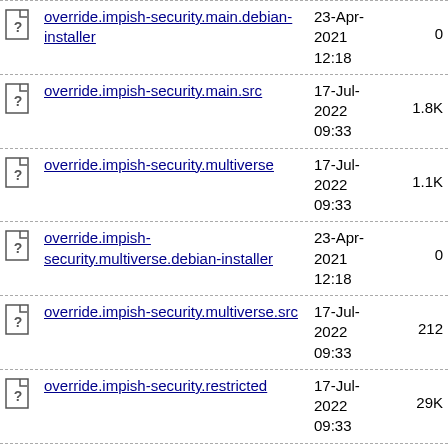override.impish-security.main.debian-installer  23-Apr-2021 12:18  0
override.impish-security.main.src  17-Jul-2022 09:33  1.8K
override.impish-security.multiverse  17-Jul-2022 09:33  1.1K
override.impish-security.multiverse.debian-installer  23-Apr-2021 12:18  0
override.impish-security.multiverse.src  17-Jul-2022 09:33  212
override.impish-security.restricted  17-Jul-2022 09:33  29K
override.impish-  23-Apr-